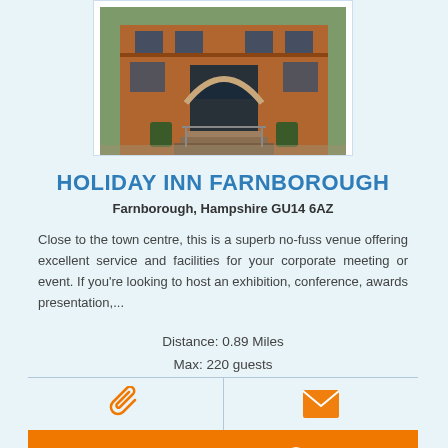[Figure (photo): Exterior photo of Holiday Inn Farnborough hotel building facade, red brick with arched entrance]
HOLIDAY INN FARNBOROUGH
Farnborough, Hampshire GU14 6AZ
Close to the town centre, this is a superb no-fuss venue offering excellent service and facilities for your corporate meeting or event. If you're looking to host an exhibition, conference, awards presentation,...
Distance: 0.89 Miles
Max: 220 guests
[Figure (infographic): Paperclip icon (orange)]
[Figure (infographic): Envelope/email icon (orange)]
VENUE DETAILS